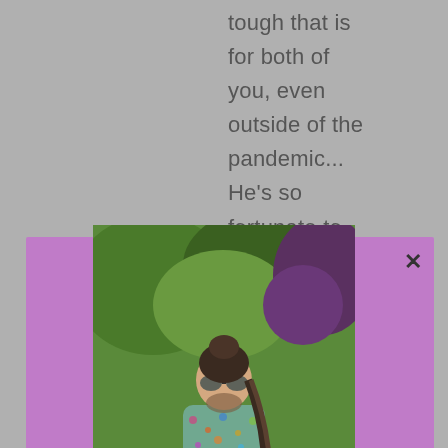tough that is for both of you, even outside of the pandemic... He's so fortunate to have your
[Figure (photo): A man with long braided hair and sunglasses wearing a colorful floral/patterned outfit sitting in a chair outdoors in a garden setting. He is wearing red/pink shoes. A purple modal dialog box overlays the background with an X close button.]